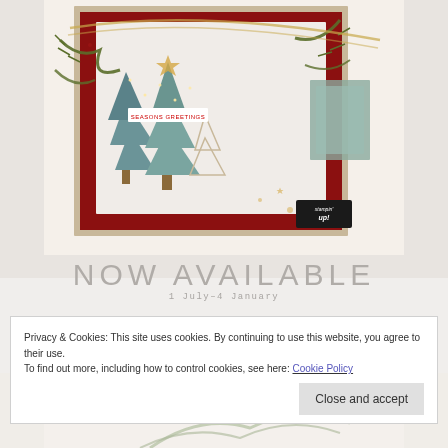[Figure (photo): Christmas holiday card featuring decorated Christmas trees in teal/sage colors on a dark red polka dot background, with gold ribbon, pine branches, and lights, Stampin' Up! branded, displayed on a cream/white mat]
NOW AVAILABLE
1 July–4 January
[Figure (photo): Partial view of another holiday card/image at bottom of page]
Privacy & Cookies: This site uses cookies. By continuing to use this website, you agree to their use.
To find out more, including how to control cookies, see here: Cookie Policy
Close and accept